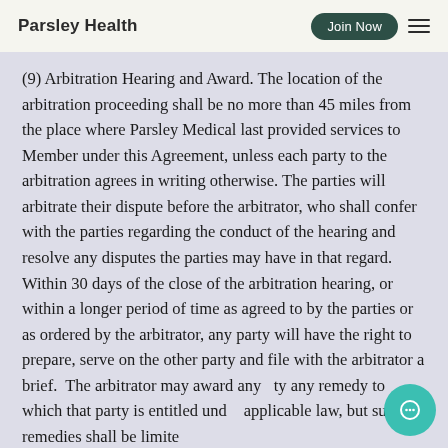Parsley Health | Join Now
(9) Arbitration Hearing and Award. The location of the arbitration proceeding shall be no more than 45 miles from the place where Parsley Medical last provided services to Member under this Agreement, unless each party to the arbitration agrees in writing otherwise. The parties will arbitrate their dispute before the arbitrator, who shall confer with the parties regarding the conduct of the hearing and resolve any disputes the parties may have in that regard. Within 30 days of the close of the arbitration hearing, or within a longer period of time as agreed to by the parties or as ordered by the arbitrator, any party will have the right to prepare, serve on the other party and file with the arbitrator a brief. The arbitrator may award any party any remedy to which that party is entitled under applicable law, but such remedies shall be limited